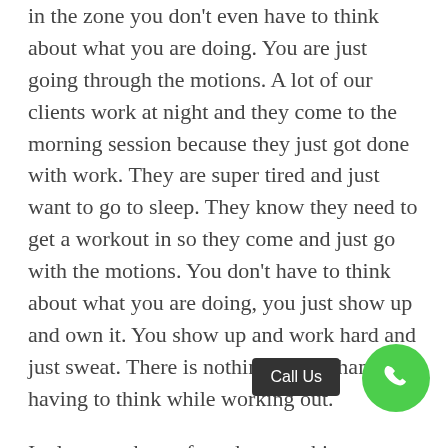in the zone you don't even have to think about what you are doing. You are just going through the motions. A lot of our clients work at night and they come to the morning session because they just got done with work. They are super tired and just want to go to sleep. They know they need to get a workout in so they come and just go with the motions. You don't have to think about what you are doing, you just show up and own it. You show up and work hard and just sweat. There is nothing better than not having to think while working out.
It also goes by so fast, the next thing you know you are done and you can go about your day. It's just a 45 minute session so once you are done you can go home and sleep if you are